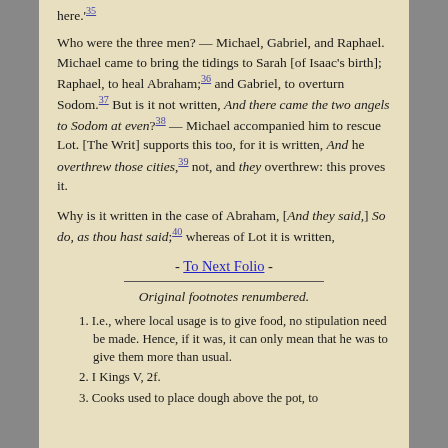here.'35
Who were the three men? — Michael, Gabriel, and Raphael. Michael came to bring the tidings to Sarah [of Isaac's birth]; Raphael, to heal Abraham;36 and Gabriel, to overturn Sodom.37 But is it not written, And there came the two angels to Sodom at even?38 — Michael accompanied him to rescue Lot. [The Writ] supports this too, for it is written, And he overthrew those cities,39 not, and they overthrew: this proves it.
Why is it written in the case of Abraham, [And they said,] So do, as thou hast said;40 whereas of Lot it is written,
- To Next Folio -
Original footnotes renumbered.
1. I.e., where local usage is to give food, no stipulation need be made. Hence, if it was, it can only mean that he was to give them more than usual.
2. I Kings V, 2f.
3. Cooks used to place dough above the pot, to